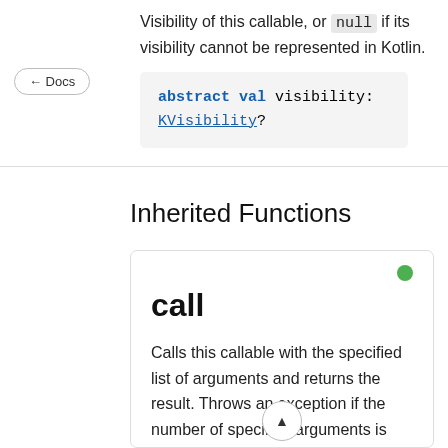Visibility of this callable, or null if its visibility cannot be represented in Kotlin.
← Docs
abstract val visibility: KVisibility?
Inherited Functions
call
Calls this callable with the specified list of arguments and returns the result. Throws an exception if the number of specified arguments is not equal to the size of parameters, or if their types do not match the types of the parameters.